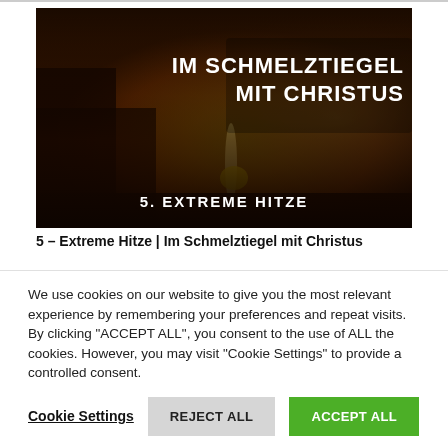[Figure (photo): Industrial molten metal pouring scene with bright orange glow. Text overlay reads 'IM SCHMELZTIEGEL MIT CHRISTUS' in bold white letters on the right side, and '5. EXTREME HITZE' in bold white letters at the bottom center.]
5 – Extreme Hitze | Im Schmelztiegel mit Christus
We use cookies on our website to give you the most relevant experience by remembering your preferences and repeat visits. By clicking "ACCEPT ALL", you consent to the use of ALL the cookies. However, you may visit "Cookie Settings" to provide a controlled consent.